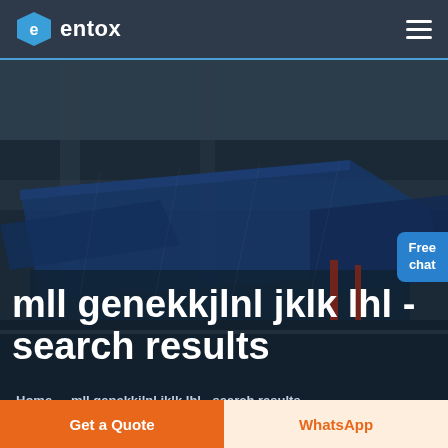entox
[Figure (screenshot): Aerial view of a large industrial factory/warehouse complex with blue roofed buildings, used as hero background image]
mll genekkjlnl jklk lhl - search results
Home  -  mll genekkjlnl jklk lhl - search results
Get a Quote
WhatsApp